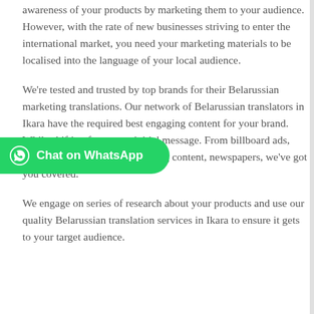awareness of your products by marketing them to your audience. However, with the rate of new businesses striving to enter the international market, you need your marketing materials to be localised into the language of your local audience.
We're tested and trusted by top brands for their Belarussian marketing translations. Our network of Belarussian translators in Ikara have the required best engaging content for your brand. While shifting from your initial message. From billboard ads, magazines, email marketing, blog content, newspapers, we've got you covered.
[Figure (other): Green WhatsApp chat button with WhatsApp logo icon and text 'Chat on WhatsApp']
We engage on series of research about your products and use our quality Belarussian translation services in Ikara to ensure it gets to your target audience.